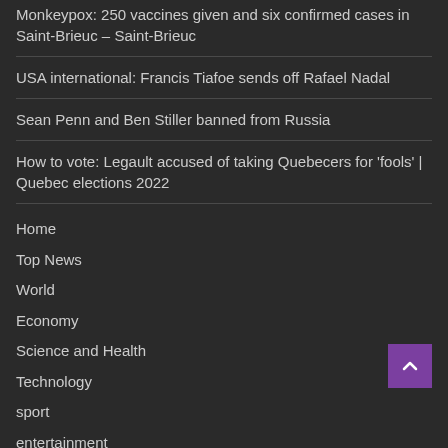Monkeypox: 250 vaccines given and six confirmed cases in Saint-Brieuc – Saint-Brieuc
USA international: Francis Tiafoe sends off Rafael Nadal
Sean Penn and Ben Stiller banned from Russia
How to vote: Legault accused of taking Quebecers for 'fools' | Quebec elections 2022
Home
Top News
World
Economy
Science and Health
Technology
sport
entertainment
Contact Form